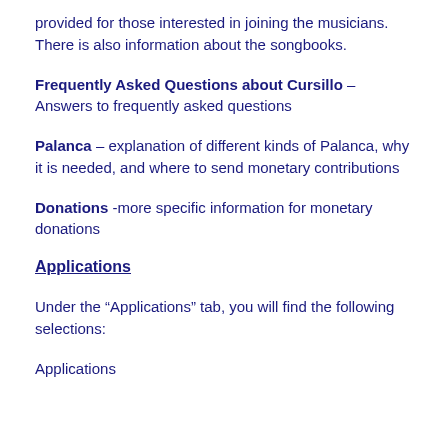provided for those interested in joining the musicians.  There is also information about the songbooks.
Frequently Asked Questions about Cursillo – Answers to frequently asked questions
Palanca – explanation of different kinds of Palanca, why it is needed, and where to send monetary contributions
Donations -more specific information for monetary donations
Applications
Under the “Applications” tab, you will find the following selections:
Applications